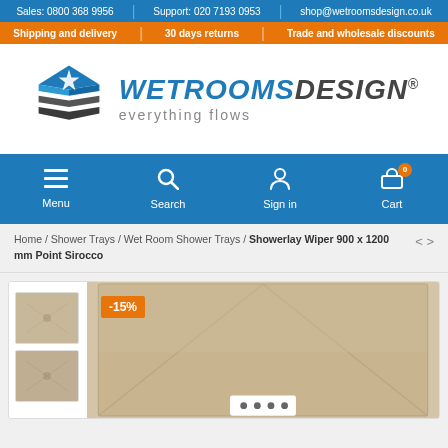Sales: 0800 368 9956 | Support: 020 7193 0953 | shop@wetroomsdesign.co.uk
Shipping and delivery | 30 days returns | Trade and wholesale discounts
[Figure (logo): Wetroomsdesign logo with diamond/layers icon and tagline 'everything flows']
Menu | Search | Sign in | Cart
Home / Shower Trays / Wet Room Shower Trays / Showerlay Wiper 900 x 1200 mm Point Sirocco
[Figure (photo): Showerlay Wiper shower tray product image showing tan/beige colored rectangular tray with diagonal wiper pattern, -15% discount badge shown]